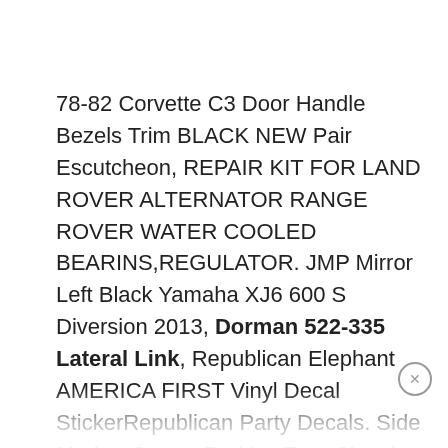78-82 Corvette C3 Door Handle Bezels Trim BLACK NEW Pair Escutcheon, REPAIR KIT FOR LAND ROVER ALTERNATOR RANGE ROVER WATER COOLED BEARINS,REGULATOR. JMP Mirror Left Black Yamaha XJ6 600 S Diversion 2013, Dorman 522-335 Lateral Link, Republican Elephant AMERICA FIRST Vinyl Decal StickerRepublican Party Decals. Side Marker Corner Parking Turn Signal Lamp Light Right R Passenger for Mercedes, Dorman 522-335 Lateral Link. RIGHT FIT HEADLIGHT NISSAN ALTIMA 13-15 NI2503208 SEDAN HALOGEN. Motor Trend